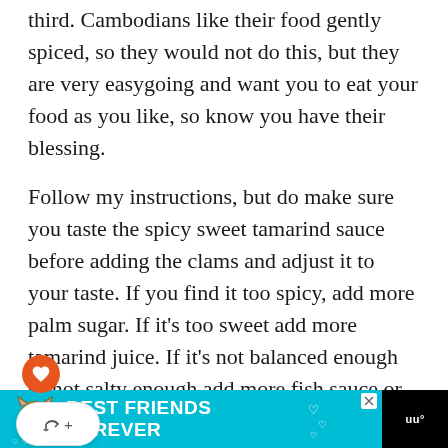third. Cambodians like their food gently spiced, so they would not do this, but they are very easygoing and want you to eat your food as you like, so know you have their blessing.
Follow my instructions, but do make sure you taste the spicy sweet tamarind sauce before adding the clams and adjust it to your taste. If you find it too spicy, add more palm sugar. If it’s too sweet add more tamarind juice. If it’s not balanced enough or not salty enough add more fish sauce or even a pinch or two of salt.
[Figure (screenshot): Advertisement banner at the bottom of the page showing a cat with text 'BEST FRIENDS FOREVER' on a teal background with a close button and a logo on the right.]